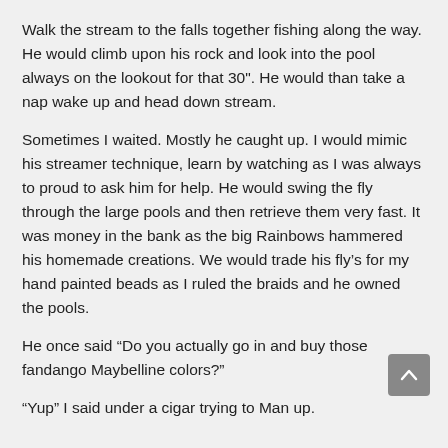Walk the stream to the falls together fishing along the way. He would climb upon his rock and look into the pool always on the lookout for that 30". He would than take a nap wake up and head down stream.
Sometimes I waited. Mostly he caught up. I would mimic his streamer technique, learn by watching as I was always to proud to ask him for help. He would swing the fly through the large pools and then retrieve them very fast. It was money in the bank as the big Rainbows hammered his homemade creations. We would trade his fly's for my hand painted beads as I ruled the braids and he owned the pools.
He once said “Do you actually go in and buy those fandango Maybelline colors?”
“Yup” I said under a cigar trying to Man up.